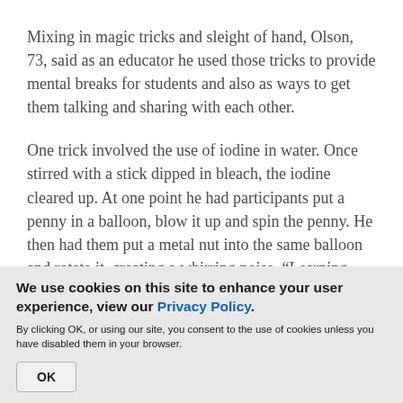Mixing in magic tricks and sleight of hand, Olson, 73, said as an educator he used those tricks to provide mental breaks for students and also as ways to get them talking and sharing with each other.
One trick involved the use of iodine in water. Once stirred with a stick dipped in bleach, the iodine cleared up. At one point he had participants put a penny in a balloon, blow it up and spin the penny. He then had them put a metal nut into the same balloon and rotate it, creating a whirring noise. “Learning happens like this,” Olson said, noting most people don’t realize the piece of hardware would make that
We use cookies on this site to enhance your user experience, view our Privacy Policy.
By clicking OK, or using our site, you consent to the use of cookies unless you have disabled them in your browser.